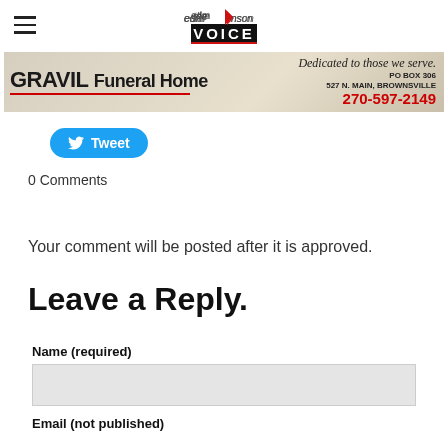the edmonson VOICE
[Figure (other): GRAVIL Funeral Home advertisement banner. Text: GRAVIL Funeral Home, PO BOX 306, 527 N. MAIN, BROWNSVILLE, 270-597-2149, Dedicated to those we serve.]
Tweet
0 Comments
Your comment will be posted after it is approved.
Leave a Reply.
Name (required)
Email (not published)